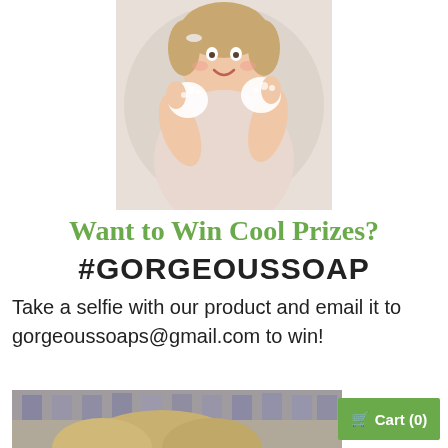[Figure (photo): Young child with soapy hands showing palms to camera, wearing pink clothing, smiling at camera.]
Want to Win Cool Prizes?
#GORGEOUSSOAP
Take a selfie with our product and email it to gorgeoussoaps@gmail.com to win!
[Figure (photo): Person photographed from above showing top of head, partial background with people visible.]
Cart (0)